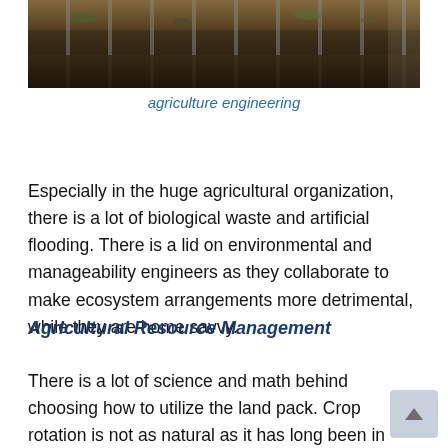[Figure (photo): Close-up photo of soil and organic material in concrete block planters or cinder blocks, viewed from above, showing agricultural/garden composting setup]
agriculture engineering
Especially in the huge agricultural organization, there is a lot of biological waste and artificial flooding. There is a lid on environmental and manageability engineers as they collaborate to make ecosystem arrangements more detrimental, while they are home savvy.
Agricultural Resource Management
There is a lot of science and math behind choosing how to utilize the land pack. Crop rotation is not as natural as it has long been in this case. But finding some way to map the land and water is important to